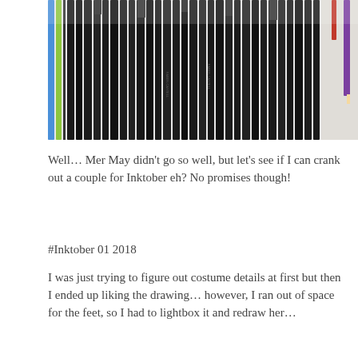[Figure (photo): Close-up photo of many black ink pens and pencils (including Faber-Castell brand) laid out on a white surface, with a blue pen, green pen, and purple pencil visible on the sides.]
Well… Mer May didn't go so well, but let's see if I can crank out a couple for Inktober eh? No promises though!
#Inktober 01 2018
I was just trying to figure out costume details at first but then I ended up liking the drawing… however, I ran out of space for the feet, so I had to lightbox it and redraw her…